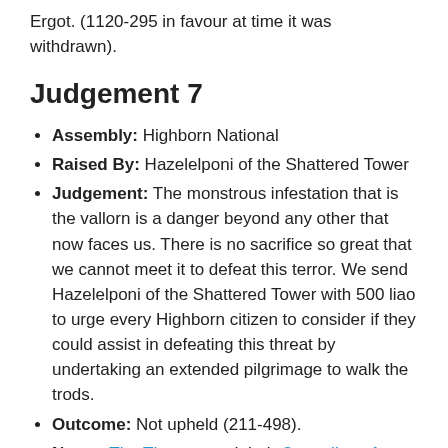Ergot. (1120-295 in favour at time it was withdrawn).
Judgement 7
Assembly: Highborn National
Raised By: Hazelelponi of the Shattered Tower
Judgement: The monstrous infestation that is the vallorn is a danger beyond any other that now faces us. There is no sacrifice so great that we cannot meet it to defeat this terror. We send Hazelelponi of the Shattered Tower with 500 liao to urge every Highborn citizen to consider if they could assist in defeating this threat by undertaking an extended pilgrimage to walk the trods.
Outcome: Not upheld (211-498).
Notes: The Throne used their Custodian of Virtue power to cause this mandate to require a Greater Majority.
Judgement 10